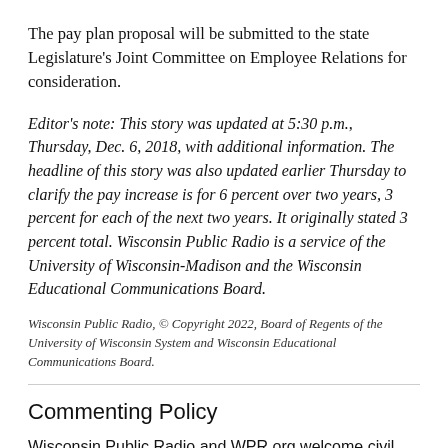The pay plan proposal will be submitted to the state Legislature's Joint Committee on Employee Relations for consideration.
Editor's note: This story was updated at 5:30 p.m., Thursday, Dec. 6, 2018, with additional information. The headline of this story was also updated earlier Thursday to clarify the pay increase is for 6 percent over two years, 3 percent for each of the next two years. It originally stated 3 percent total. Wisconsin Public Radio is a service of the University of Wisconsin-Madison and the Wisconsin Educational Communications Board.
Wisconsin Public Radio, © Copyright 2022, Board of Regents of the University of Wisconsin System and Wisconsin Educational Communications Board.
Commenting Policy
Wisconsin Public Radio and WPR.org welcome civil, on-topic comments and opinions that advance the discussion from all perspectives of an